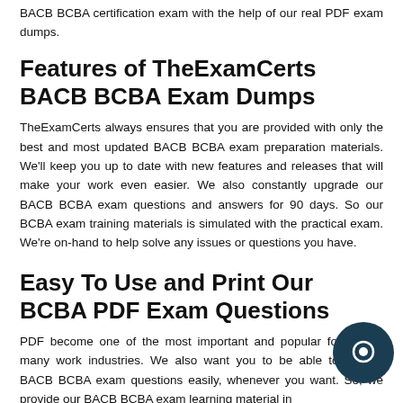BACB BCBA certification exam with the help of our real PDF exam dumps.
Features of TheExamCerts BACB BCBA Exam Dumps
TheExamCerts always ensures that you are provided with only the best and most updated BACB BCBA exam preparation materials. We'll keep you up to date with new features and releases that will make your work even easier. We also constantly upgrade our BACB BCBA exam questions and answers for 90 days. So our BCBA exam training materials is simulated with the practical exam. We're on-hand to help solve any issues or questions you have.
Easy To Use and Print Our BCBA PDF Exam Questions
PDF become one of the most important and popular formats in many work industries. We also want you to be able to access BACB BCBA exam questions easily, whenever you want. So, we provide our BACB BCBA exam learning material in